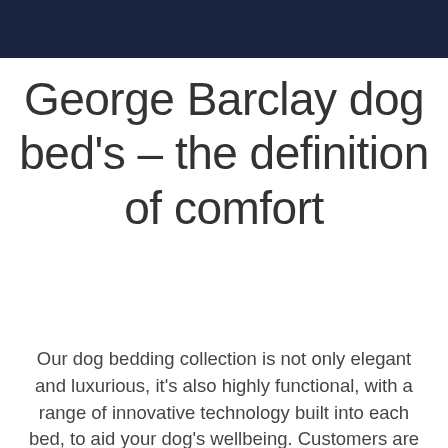George Barclay dog bed's – the definition of comfort
Our dog bedding collection is not only elegant and luxurious, it's also highly functional, with a range of innovative technology built into each bed, to aid your dog's wellbeing. Customers are able to select the cushioning for their dog's bed. They can choose either an orthopaedic, blended memory foam particles filling or a memory topper mattress, to provide the correct